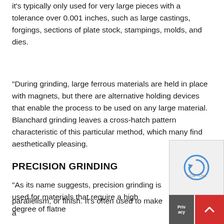it's typically only used for very large pieces with a tolerance over 0.001 inches, such as large castings, forgings, sections of plate stock, stampings, molds, and dies.
“During grinding, large ferrous materials are held in place with magnets, but there are alternative holding devices that enable the process to be used on any large material. Blanchard grinding leaves a cross-hatch pattern characteristic of this particular method, which many find aesthetically pleasing.
PRECISION GRINDING
“As its name suggests, precision grinding is used for materials that require a high degree of flatness, parallelism, or finish. It’s often used to make a…